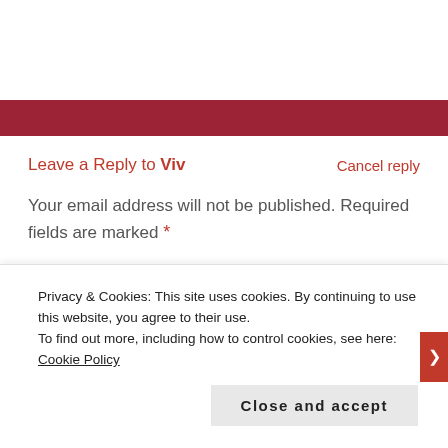[Figure (other): Dark red horizontal banner bar]
Leave a Reply to Viv
Cancel reply
Your email address will not be published. Required fields are marked *
[Figure (other): Comment text area input box with placeholder text COMMENT and asterisk]
Privacy & Cookies: This site uses cookies. By continuing to use this website, you agree to their use.
To find out more, including how to control cookies, see here: Cookie Policy
Close and accept